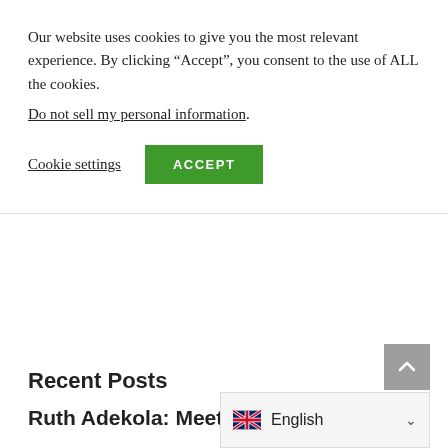Our website uses cookies to give you the most relevant experience. By clicking “Accept”, you consent to the use of ALL the cookies.
Do not sell my personal information.
Cookie settings
ACCEPT
Recent Posts
Ruth Adekola: Meet Oc…
[Figure (other): Language switcher widget showing UK flag and 'English' label with dropdown chevron]